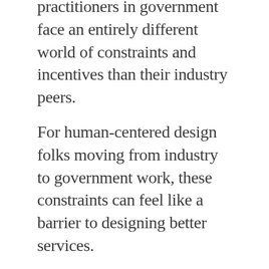practitioners in government face an entirely different world of constraints and incentives than their industry peers.
For human-centered design folks moving from industry to government work, these constraints can feel like a barrier to designing better services.
Last week, we talked about some examples of how human-centered design techniques can help government teams make decisions and build better services. In this post, I'd like to dig in to the ways government differs from